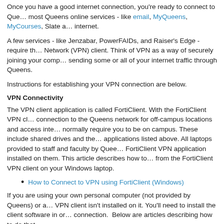Once you have a good internet connection, you're ready to connect to Queens online services - like email, MyQueens, MyCourses, Slate and most others - just need internet.
A few services - like Jenzabar, PowerFAIDs, and Raiser's Edge - require the Virtual Private Network (VPN) client. Think of VPN as a way of securely joining your computer to Queens by sending some or all of your internet traffic through Queens.
Instructions for establishing your VPN connection are below.
VPN Connectivity
The VPN client application is called FortiClient. With the FortiClient VPN client, you can establish a connection to the Queens network for off-campus locations and access internal resources that normally require you to be on campus. These include shared drives and the Jenzabar and other applications listed above. All laptops provided to staff and faculty by Queens will have the FortiClient VPN application installed on them. This article describes how to connect to Queens from the FortiClient VPN client on your Windows laptop.
How to Connect to VPN using FortiClient (Windows)
If you are using your own personal computer (not provided by Queens) or a Mac, the FortiClient VPN client isn't installed on it. You'll need to install the client software in order to establish a connection. Below are articles describing how to do that.
How to Install & Launch the Fortinet VPN Client (Mac)